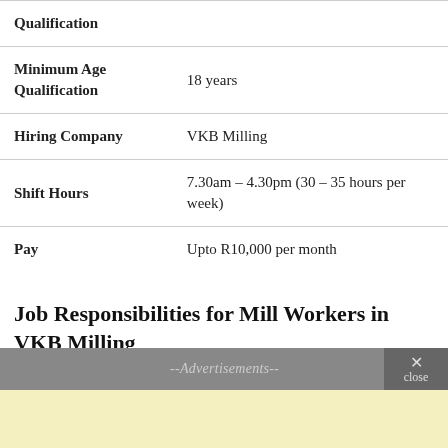| Field | Value |
| --- | --- |
| Qualification |  |
| Minimum Age Qualification | 18 years |
| Hiring Company | VKB Milling |
| Shift Hours | 7.30am – 4.30pm (30 – 35 hours per week) |
| Pay | Upto R10,000 per month |
Job Responsibilities for Mill Workers in VKB Milling
--Advertisements--